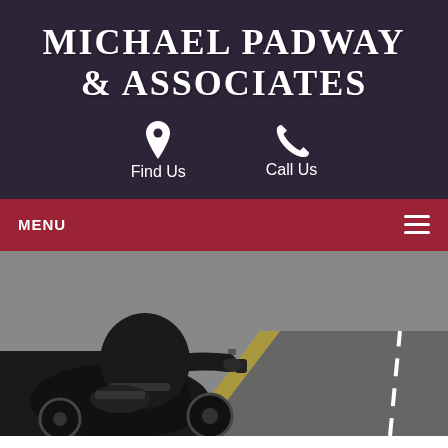MICHAEL PADWAY & ASSOCIATES
Find Us
Call Us
MENU
[Figure (photo): Motorcycle rider on a road, wearing black leather jacket, riding a black motorcycle. Road with white lane marking visible on the right.]
Motorcycle Group Riding Hand Signals